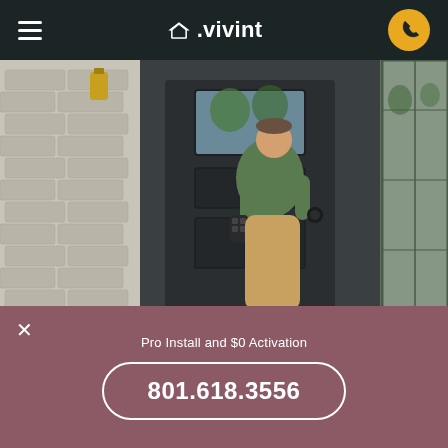≡  △.vivint  📞
[Figure (photo): Man in green t-shirt and khaki pants seen from behind, reaching toward a dark front door with a smart lock keypad. Tan/grey shingle siding on left, glass door panel on right.]
It's easy for Mantua residents to get a top of the line Vivint
Pro Install and $0 Activation
801.618.3556